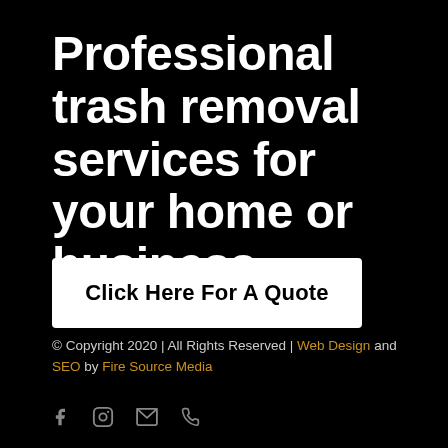Professional trash removal services for your home or business.
Click Here For A Quote
© Copyright 2020 | All Rights Reserved | Web Design and SEO by Fire Source Media
[Figure (other): Social media and contact icons: Facebook, Instagram, Email, Phone]